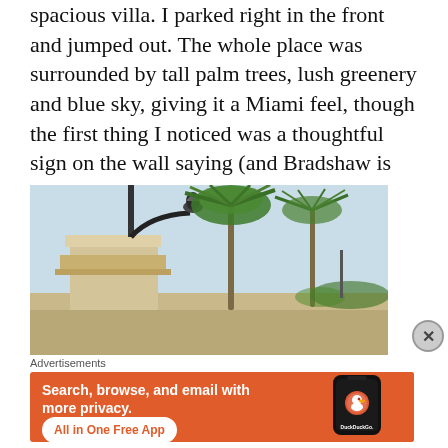spacious villa. I parked right in the front and jumped out. The whole place was surrounded by tall palm trees, lush greenery and blue sky, giving it a Miami feel, though the first thing I noticed was a thoughtful sign on the wall saying (and Bradshaw is never wrong):
[Figure (photo): Outdoor photo showing a street lamp post on a beige/tan wall or pillar in the foreground, with tall palm trees against a light blue sky in the background. A partial dark sign is visible at the bottom right.]
Advertisements
[Figure (screenshot): DuckDuckGo advertisement banner with orange background. Left side shows bold white text: 'Search, browse, and email with more privacy.' with a white rounded button reading 'All in One Free App'. Right side shows a dark smartphone mockup with the DuckDuckGo logo and wordmark.]